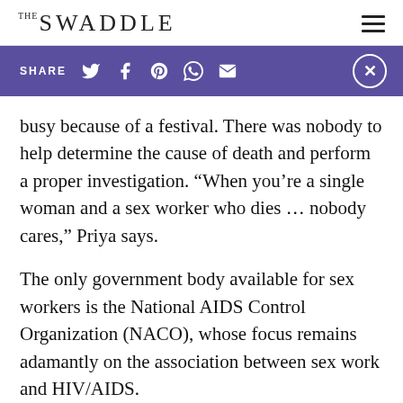THE SWADDLE
SHARE
busy because of a festival. There was nobody to help determine the cause of death and perform a proper investigation. “When you’re a single woman and a sex worker who dies … nobody cares,” Priya says.
The only government body available for sex workers is the National AIDS Control Organization (NACO), whose focus remains adamantly on the association between sex work and HIV/AIDS.
It all began in 1986, when the arrival of